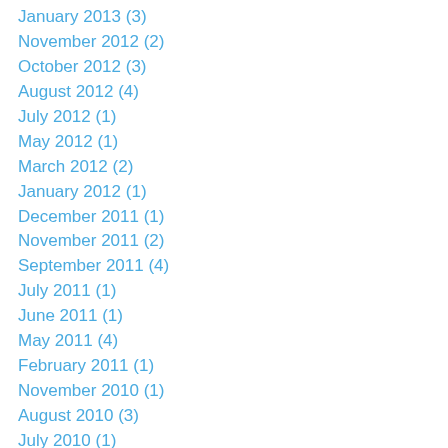January 2013 (3)
November 2012 (2)
October 2012 (3)
August 2012 (4)
July 2012 (1)
May 2012 (1)
March 2012 (2)
January 2012 (1)
December 2011 (1)
November 2011 (2)
September 2011 (4)
July 2011 (1)
June 2011 (1)
May 2011 (4)
February 2011 (1)
November 2010 (1)
August 2010 (3)
July 2010 (1)
June 2010 (1)
February 2010 (2)